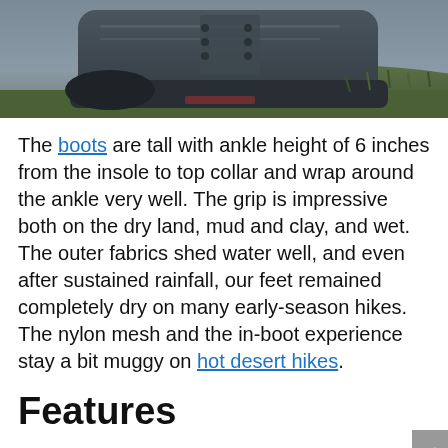[Figure (photo): Close-up photo of a dark gray hiking boot on grass/ground, showing the sole and lower portion of the boot]
The boots are tall with ankle height of 6 inches from the insole to top collar and wrap around the ankle very well. The grip is impressive both on the dry land, mud and clay, and wet.
The outer fabrics shed water well, and even after sustained rainfall, our feet remained completely dry on many early-season hikes. The nylon mesh and the in-boot experience stay a bit muggy on hot desert hikes.
Features
1. Water-resistant